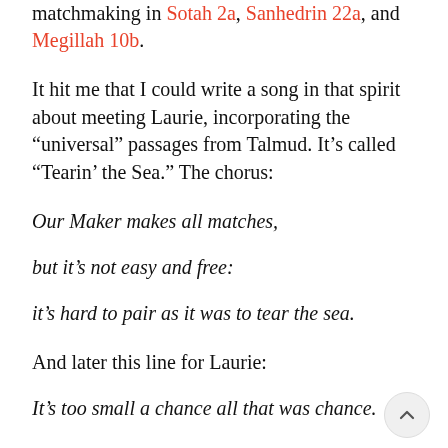matchmaking in Sotah 2a, Sanhedrin 22a, and Megillah 10b.
It hit me that I could write a song in that spirit about meeting Laurie, incorporating the “universal” passages from Talmud. It’s called “Tearin’ the Sea.” The chorus:
Our Maker makes all matches,
but it’s not easy and free:
it’s hard to pair as it was to tear the sea.
And later this line for Laurie:
It’s too small a chance all that was chance.